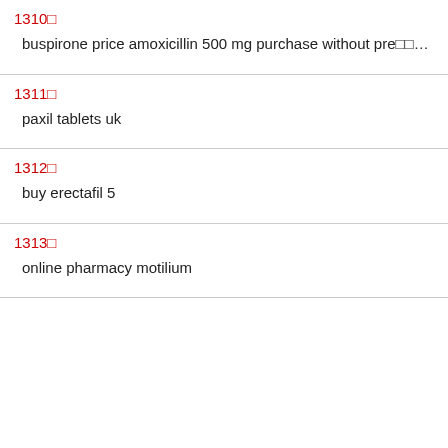1310↵
buspirone price amoxicillin 500 mg purchase without pre□□□□□ion price over the counter uk cipralex india ciprofloxacin tablets online zestoret
1311↵
paxil tablets uk
1312↵
buy erectafil 5
1313↵
online pharmacy motilium